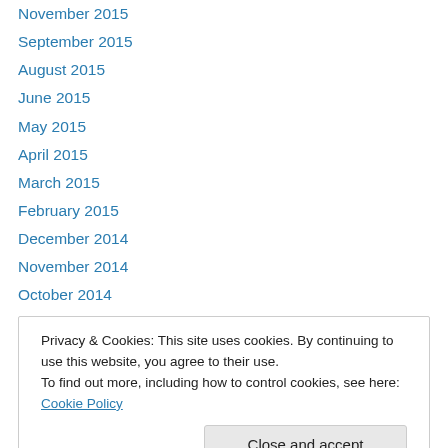November 2015
September 2015
August 2015
June 2015
May 2015
April 2015
March 2015
February 2015
December 2014
November 2014
October 2014
September 2014
August 2014
Privacy & Cookies: This site uses cookies. By continuing to use this website, you agree to their use. To find out more, including how to control cookies, see here: Cookie Policy
January 2014